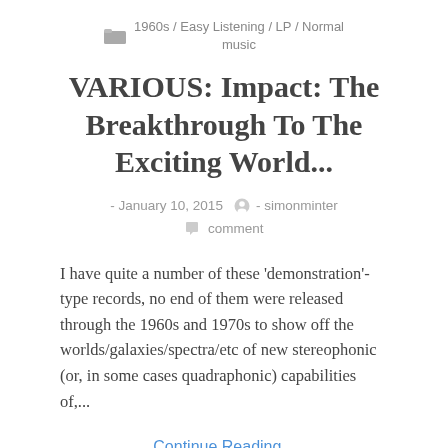1960s / Easy Listening / LP / Normal music
VARIOUS: Impact: The Breakthrough To The Exciting World...
- January 10, 2015  - simonminter  comment
I have quite a number of these 'demonstration'-type records, no end of them were released through the 1960s and 1970s to show off the worlds/galaxies/spectra/etc of new stereophonic (or, in some cases quadraphonic) capabilities of,...
Continue Reading ..